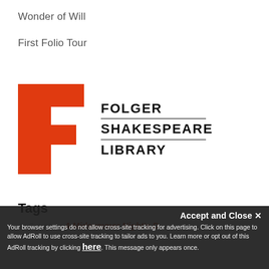Wonder of Will
First Folio Tour
[Figure (logo): Folger Shakespeare Library logo: large orange letter F on the left, with text FOLGER SHAKESPEARE LIBRARY on the right in bold black capitals with horizontal rules between lines.]
Tags
As Gutenberg A Midsummer Night's D...
Accept and Close ✕ Your browser settings do not allow cross-site tracking for advertising. Click on this page to allow AdRoll to use cross-site tracking to tailor ads to you. Learn more or opt out of this AdRoll tracking by clicking here. This message only appears once.